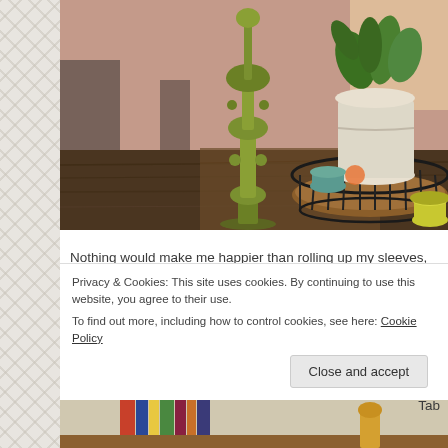[Figure (photo): A rustic wooden farm table surface with a green ornate candlestick holder on the left and a round black wire tray/basket on the right containing a white ceramic pot with a green plant, a small teal bowl, and a small yellow-green jar. Pink/mauve wall in background. Warm, homey interior scene.]
Nothing would make me happier than rolling up my sleeves, donni wear and constructing a wood farm table out of raw materials. But fact that this won't happen anytime soon. Luckily there are great di from the handmade variety on Etsy to the big box retailers. I decide Tab
Privacy & Cookies: This site uses cookies. By continuing to use this website, you agree to their use.
To find out more, including how to control cookies, see here: Cookie Policy
Close and accept
[Figure (photo): Partial view of a second photo at the bottom of the page showing books and interior home decor items.]